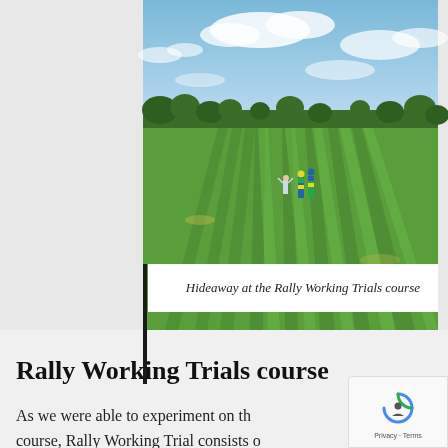[Figure (photo): Outdoor field photo showing a large green grassy field with mown stripes, blue sky with clouds, trees in background, a person standing in the middle distance, and colorful (blue, green, yellow) agility-style markers/poles visible in the center.]
Hideaway at the Rally Working Trials course
Rally Working Trials course
As we were able to experiment on the course, Rally Working Trial consists o...